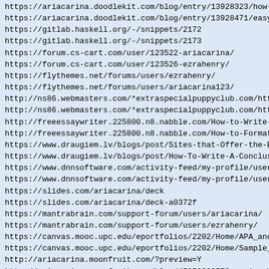https://ariacarina.doodlekit.com/blog/entry/13928323/how-to
https://ariacarina.doodlekit.com/blog/entry/13928471/easy-a
https://gitlab.haskell.org/-/snippets/2172
https://gitlab.haskell.org/-/snippets/2173
https://forum.cs-cart.com/user/123522-ariacarina/
https://forum.cs-cart.com/user/123526-ezrahenry/
https://flythemes.net/forums/users/ezrahenry/
https://flythemes.net/forums/users/ariacarina123/
http://ns86.webmasters.com/*extraspecialpuppyclub.com/httpd
http://ns86.webmasters.com/*extraspecialpuppyclub.com/httpd
http://freeessaywriter.225800.n8.nabble.com/How-to-Write-a-
http://freeessaywriter.225800.n8.nabble.com/How-to-Format-Y
https://www.draugiem.lv/blogs/post/Sites-that-Offer-the-Bes
https://www.draugiem.lv/blogs/post/How-To-Write-A-Conclusio
https://www.dnnsoftware.com/activity-feed/my-profile/userid
https://www.dnnsoftware.com/activity-feed/my-profile/userid
https://slides.com/ariacarina/deck
https://slides.com/ariacarina/deck-a0372f
https://mantrabrain.com/support-forum/users/ariacarina/
https://mantrabrain.com/support-forum/users/ezrahenry/
https://canvas.mooc.upc.edu/eportfolios/2202/Home/APA_and_M
https://canvas.mooc.upc.edu/eportfolios/2202/Home/Sample_Es
http://ariacarina.moonfruit.com/?preview=Y
http://ariacarina.moonfruit.com/blog/4595239257?preview=Y
https://nonprofits.uwm.edu/profile/aria-carina/1588768/
https://nonprofits.uwm.edu/profile/ezra-henry/1588771/
https://my.nhpco.org/network/members/profile?UserKey=631729
https://my.nhpco.org/network/members/profile?UserKey=6ff6f8
https://connect.informs.org/jfig/sectiondirectory/profile?U
https://connect.informs.org/jfig/sectiondirectory/profile?U